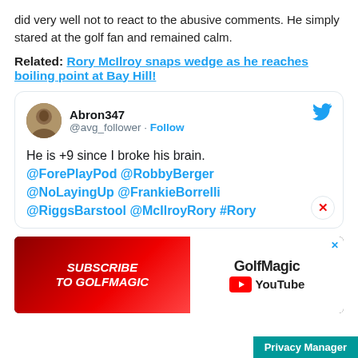did very well not to react to the abusive comments. He simply stared at the golf fan and remained calm.
Related: Rory McIlroy snaps wedge as he reaches boiling point at Bay Hill!
[Figure (screenshot): Embedded tweet from @avg_follower (Abron347) saying: He is +9 since I broke his brain. @ForePlayPod @RobbyBerger @NoLayingUp @FrankieBorrelli @RiggsBarstool @McIlroyRory #Rory]
[Figure (other): GolfMagic YouTube subscription advertisement banner with red background on left side and GolfMagic YouTube logo on right]
Privacy Manager